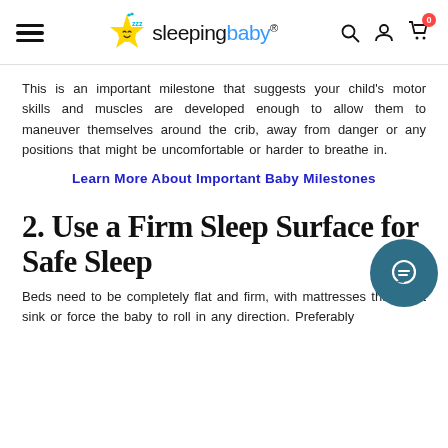sleepingbaby® — navigation header with logo and icons
This is an important milestone that suggests your child's motor skills and muscles are developed enough to allow them to maneuver themselves around the crib, away from danger or any positions that might be uncomfortable or harder to breathe in.
Learn More About Important Baby Milestones
2. Use a Firm Sleep Surface for Safe Sleep
Beds need to be completely flat and firm, with mattresses that don't sink or force the baby to roll in any direction. Preferably